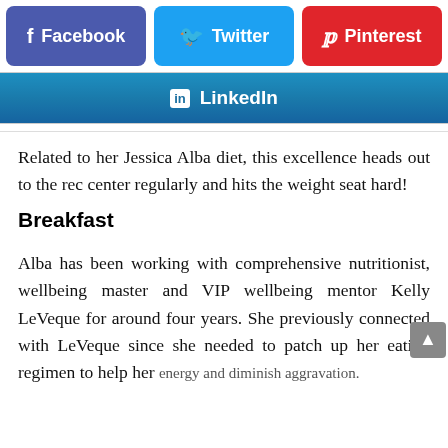[Figure (infographic): Social media share buttons: Facebook (blue-purple), Twitter (blue), Pinterest (red), and LinkedIn (teal gradient) buttons]
Related to her Jessica Alba diet, this excellence heads out to the rec center regularly and hits the weight seat hard!
Breakfast
Alba has been working with comprehensive nutritionist, wellbeing master and VIP wellbeing mentor Kelly LeVeque for around four years. She previously connected with LeVeque since she needed to patch up her eating regimen to help her energy and diminish aggravation.